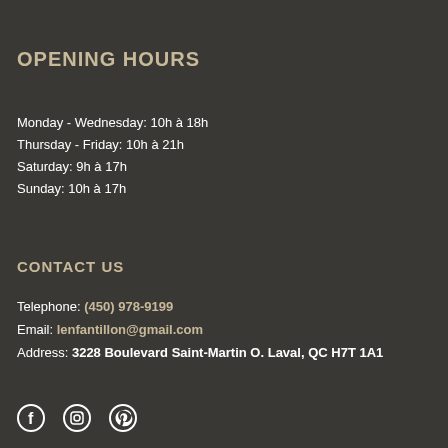OPENING HOURS
Monday - Wednesday: 10h à 18h
Thursday - Friday: 10h à 21h
Saturday: 9h à 17h
Sunday: 10h à 17h
CONTACT US
Telephone: (450) 978-9199
Email: lenfantillon@gmail.com
Address: 3228 Boulevard Saint-Martin O. Laval, QC H7T 1A1
[Figure (illustration): Social media icons: Facebook, Instagram, Pinterest]